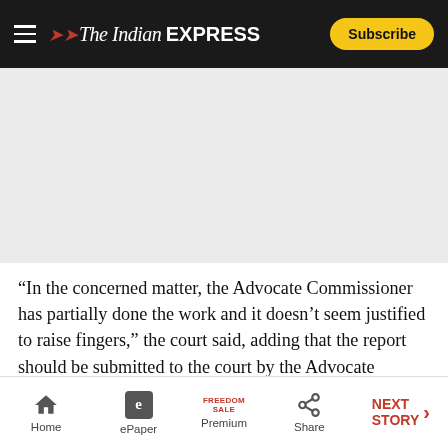The Indian Express — Subscribe
[Figure (other): Advertisement placeholder block (gray background)]
“In the concerned matter, the Advocate Commissioner has partially done the work and it doesn’t seem justified to raise fingers,” the court said, adding that the report should be submitted to the court by the Advocate Commissioners on May 17.
Home | ePaper | Premium (Freedom Sale) | Share | NEXT STORY